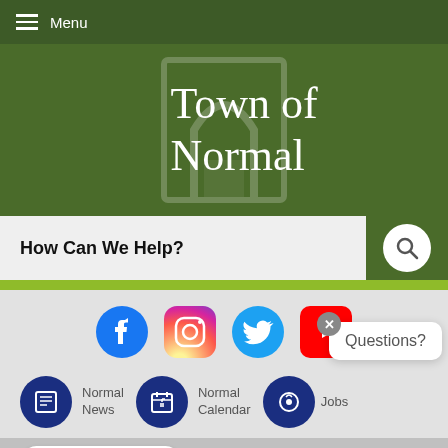Menu
Town of Normal
How Can We Help?
[Figure (screenshot): Social media icons: Facebook, Instagram, Twitter, YouTube]
Normal News
Normal Calendar
Jobs
Questions?
Select Language